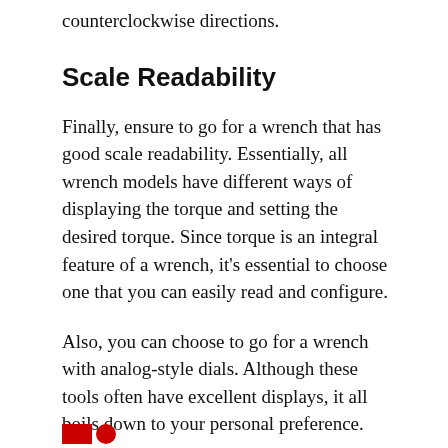counterclockwise directions.
Scale Readability
Finally, ensure to go for a wrench that has good scale readability. Essentially, all wrench models have different ways of displaying the torque and setting the desired torque. Since torque is an integral feature of a wrench, it's essential to choose one that you can easily read and configure.
Also, you can choose to go for a wrench with analog-style dials. Although these tools often have excellent displays, it all boils down to your personal preference.